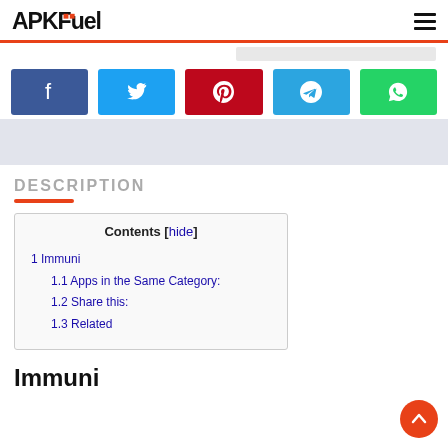APKFuel
[Figure (infographic): Social share buttons row: Facebook (blue), Twitter (light blue), Pinterest (red), Telegram (blue), WhatsApp (green)]
[Figure (infographic): Advertisement banner placeholder (light gray)]
DESCRIPTION
| Contents [hide] |
| 1 Immuni |
| 1.1 Apps in the Same Category: |
| 1.2 Share this: |
| 1.3 Related |
Immuni